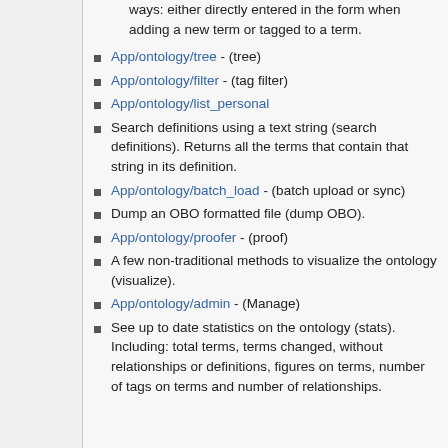ways: either directly entered in the form when adding a new term or tagged to a term.
App/ontology/tree - (tree)
App/ontology/filter - (tag filter)
App/ontology/list_personal
Search definitions using a text string (search definitions). Returns all the terms that contain that string in its definition.
App/ontology/batch_load - (batch upload or sync)
Dump an OBO formatted file (dump OBO).
App/ontology/proofer - (proof)
A few non-traditional methods to visualize the ontology (visualize).
App/ontology/admin - (Manage)
See up to date statistics on the ontology (stats). Including: total terms, terms changed, without relationships or definitions, figures on terms, number of tags on terms and number of relationships.